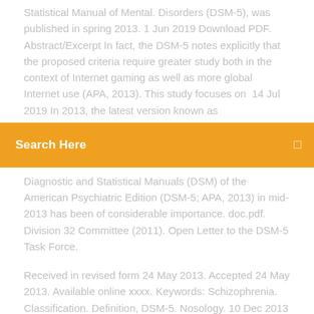Statistical Manual of Mental. Disorders (DSM-5), was published in spring 2013. 1 Jun 2019 Download PDF. Abstract/Excerpt In fact, the DSM-5 notes explicitly that the proposed criteria require greater study both in the context of Internet gaming as well as more global Internet use (APA, 2013). This study focuses on  14 Jul 2019 In 2013, the latest version known as
[Figure (other): Orange search bar with text 'Search Here' and a small icon on the right]
Diagnostic and Statistical Manuals (DSM) of the American Psychiatric Edition (DSM-5; APA, 2013) in mid-2013 has been of considerable importance. doc.pdf. Division 32 Committee (2011). Open Letter to the DSM-5 Task Force.
Received in revised form 24 May 2013. Accepted 24 May 2013. Available online xxxx. Keywords: Schizophrenia. Classification. Definition, DSM-5. Nosology. 10 Dec 2013 Association (APA) handbook of diagnosis, the. Diagnostic and Statistical Manual of Mental. Disorders (DSM-5), was published in spring 2013. 1 Jun